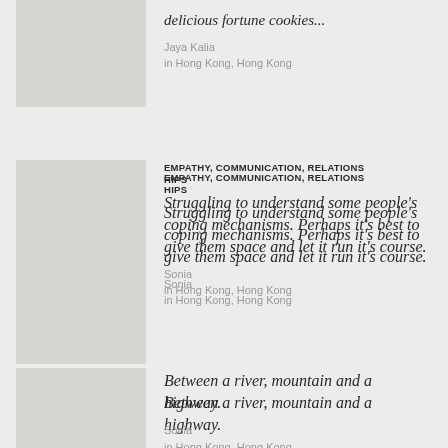[Figure (photo): Gray placeholder thumbnail image]
delicious fortune cookies...
Jaya Kalia
in Hong Kong, Hong Kong
[Figure (photo): Gray placeholder thumbnail image]
EMPATHY, COMMUNICATION, RELATIONSHIPS
Struggling to understand some people's coping mechanisms. Perhaps it's best to give them space and let it run it's course.
Sonia
in Hong Kong, Hong Kong
[Figure (photo): Gray placeholder thumbnail image]
Between a river, mountain and a highway.
Sonia
in Hong Kong, Hong Kong
[Figure (photo): Partial photo thumbnail showing trees/nature]